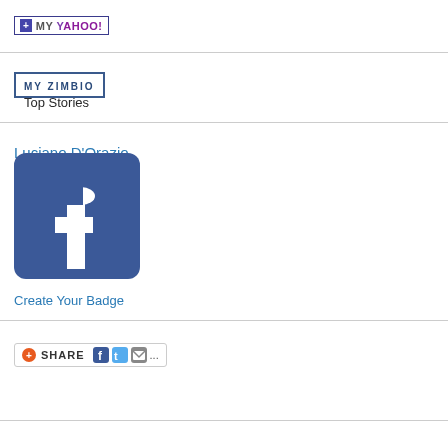[Figure (logo): My Yahoo! button with blue plus icon and purple/grey MY YAHOO! text]
[Figure (logo): My Zimbio button with blue bordered box and MY ZIMBIO text]
Top Stories
Luciano D'Orazio
[Figure (logo): Facebook logo - blue square with white lowercase f]
Create Your Badge
[Figure (logo): Share button with orange plus circle, SHARE text, Facebook, Twitter, and email icons]